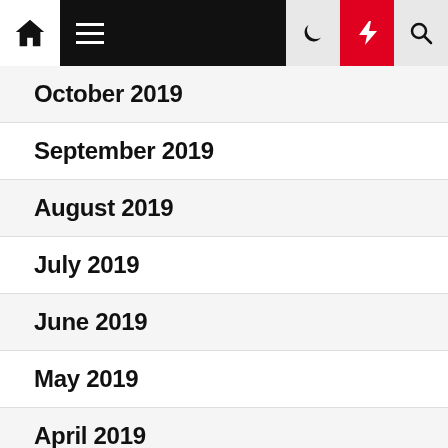Navigation header with home, menu, moon, bolt, and search icons
October 2019
September 2019
August 2019
July 2019
June 2019
May 2019
April 2019
March 2019
February 2019
January 2019